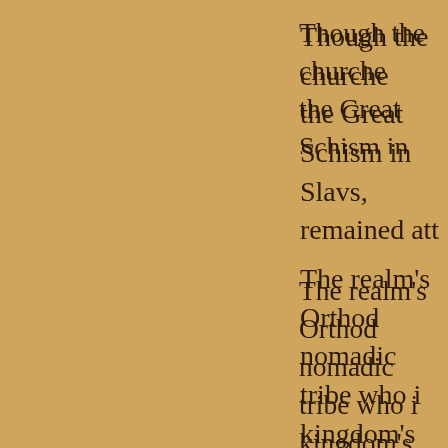Though the churches split at the Great Schism in... Slavs, remained att...
The realm's Orthod... nomadic tribe who i... kingdom's towns, vi... people were killed i...
Turks and Flux. Ev... gathered up the su... Central European m...
Even as Hungary e... Muslim tribe origina... Europe as they mig... Ottoman sultans su... Ch...